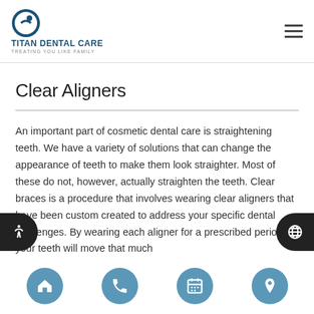[Figure (logo): Titan Dental Care logo with circular icon, company name and tagline 'Treating You Like Family']
Clear Aligners
An important part of cosmetic dental care is straightening teeth. We have a variety of solutions that can change the appearance of teeth to make them look straighter. Most of these do not, however, actually straighten the teeth. Clear braces is a procedure that involves wearing clear aligners that have been custom created to address your specific dental challenges. By wearing each aligner for a prescribed period, your teeth will move that much